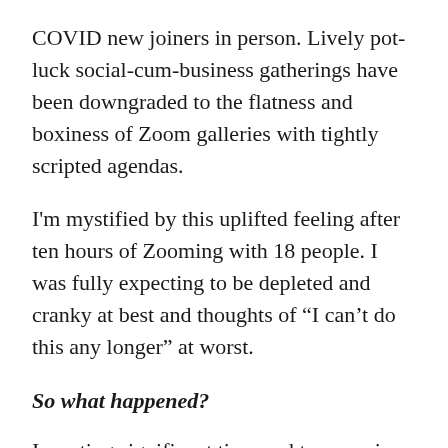COVID new joiners in person. Lively pot-luck social-cum-business gatherings have been downgraded to the flatness and boxiness of Zoom galleries with tightly scripted agendas.
I'm mystified by this uplifted feeling after ten hours of Zooming with 18 people. I was fully expecting to be depleted and cranky at best and thoughts of “I can’t do this any longer” at worst.
So what happened?
Investing significant time and treasure in the early stages of a forming cohousing community is an act of faith. A core group of us have been working on this for over three years now. We had finally reached the point where we had land under contract, the legal structure was in